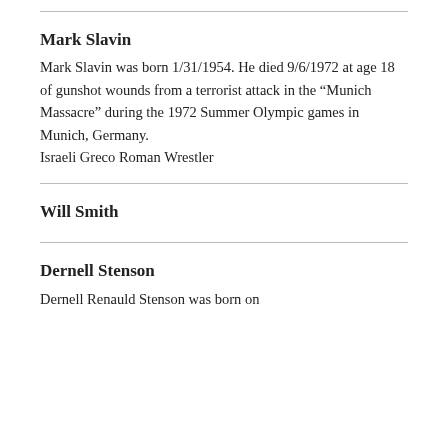Mark Slavin
Mark Slavin was born 1/31/1954. He died 9/6/1972 at age 18 of gunshot wounds from a terrorist attack in the “Munich Massacre” during the 1972 Summer Olympic games in Munich, Germany.
Israeli Greco Roman Wrestler
Will Smith
Dernell Stenson
Dernell Renauld Stenson was born on